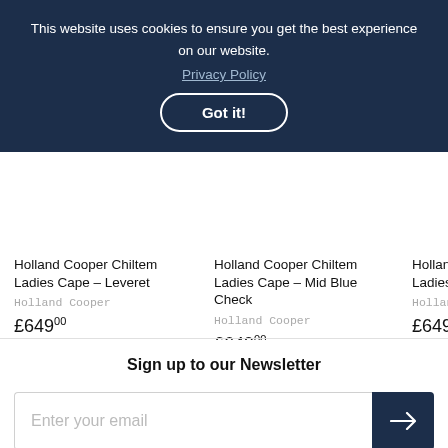This website uses cookies to ensure you get the best experience on our website. Privacy Policy
Got it!
Holland Cooper Chiltem Ladies Cape - Leveret
Holland Cooper
£649.00
Holland Cooper Chiltem Ladies Cape - Mid Blue Check
Holland Cooper
£649.00
Holland Ladies C
Holland C
£649.00
Sign up to our Newsletter
Enter your email